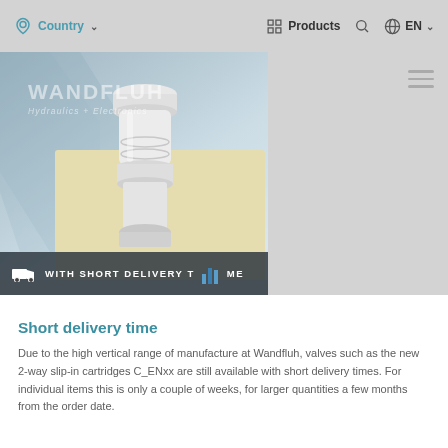Country  Products  EN
[Figure (photo): Wandfluh hydraulic cartridge valve product photo on cream/blue background with 'WITH SHORT DELIVERY TIME' banner strip at bottom]
Short delivery time
Due to the high vertical range of manufacture at Wandfluh, valves such as the new 2-way slip-in cartridges C_ENxx are still available with short delivery times. For individual items this is only a couple of weeks, for larger quantities a few months from the order date.